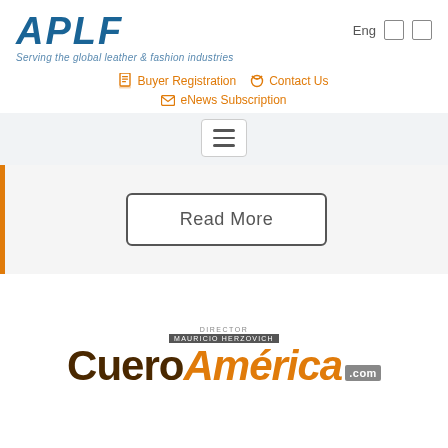[Figure (logo): APLF logo with tagline 'Serving the global leather & fashion industries']
Eng
Buyer Registration
Contact Us
eNews Subscription
[Figure (other): Hamburger menu button]
Read More
[Figure (logo): CueroAmérica.com logo with director Mauricio Herzovich label]